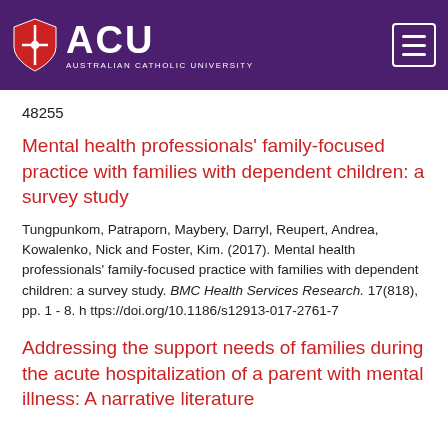[Figure (logo): ACU (Australian Catholic University) logo with shield and white text on purple background, with hamburger menu icon]
48255
Mental health professionals' family-focused practice with families with dependent children: a survey study
Tungpunkom, Patraporn, Maybery, Darryl, Reupert, Andrea, Kowalenko, Nick and Foster, Kim. (2017). Mental health professionals' family-focused practice with families with dependent children: a survey study. BMC Health Services Research. 17(818), pp. 1 - 8. https://doi.org/10.1186/s12913-017-2761-7
Addressing the support needs of families during the acute hospitalization of a parent with mental illness: A narrative literature